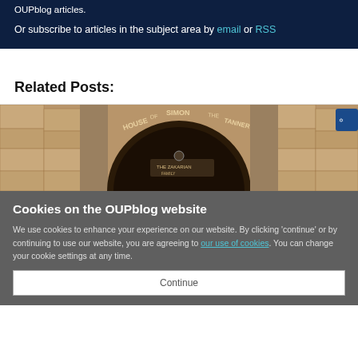OUPblog articles.
Or subscribe to articles in the subject area by email or RSS
Related Posts:
[Figure (photo): Stone arch doorway with text 'House of Simon the Tanner' inscribed across the arch, with a sign reading 'The Zakarian Family' below]
Cookies on the OUPblog website
We use cookies to enhance your experience on our website. By clicking 'continue' or by continuing to use our website, you are agreeing to our use of cookies. You can change your cookie settings at any time.
Continue